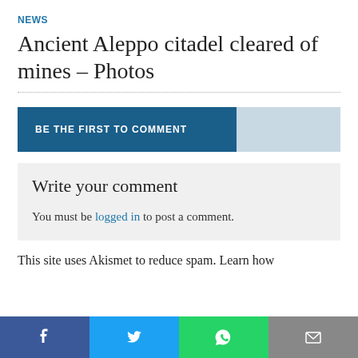NEWS
Ancient Aleppo citadel cleared of mines – Photos
BE THE FIRST TO COMMENT
Write your comment
You must be logged in to post a comment.
This site uses Akismet to reduce spam. Learn how
[Figure (infographic): Social sharing bar with Facebook, Twitter, WhatsApp, and email icons]